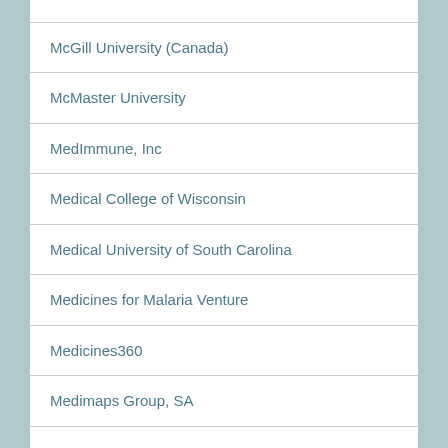| McGill University (Canada) |
| McMaster University |
| MedImmune, Inc |
| Medical College of Wisconsin |
| Medical University of South Carolina |
| Medicines for Malaria Venture |
| Medicines360 |
| Medimaps Group, SA |